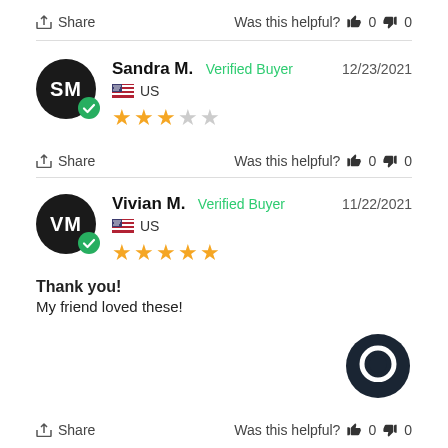Share   Was this helpful? 👍 0 👎 0
Sandra M. Verified Buyer   12/23/2021
US
★★★☆☆
Share   Was this helpful? 👍 0 👎 0
Vivian M. Verified Buyer   11/22/2021
US
★★★★★
Thank you!
My friend loved these!
Share   Was this helpful? 👍 0 👎 0